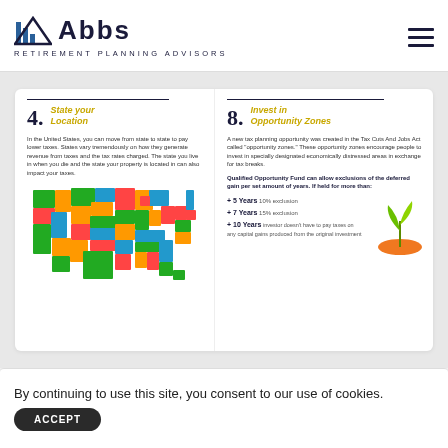ABBS RETIREMENT PLANNING ADVISORS
[Figure (infographic): Item 4: State your Location - colorful US map showing states in different colors (red, green, blue, orange) illustrating state tax variation]
In the United States, you can move from state to state to pay lower taxes. States vary tremendously on how they generate revenue from taxes and the tax rates charged. The state you live in when you die and the state your property is located in can also impact your taxes.
[Figure (infographic): Item 8: Invest in Opportunity Zones - plant/seedling growing from orange mound illustration]
A new tax planning opportunity was created in the Tax Cuts And Jobs Act called 'opportunity zones.' These opportunity zones encourage people to invest in specially designated economically distressed areas in exchange for tax breaks.
Qualified Opportunity Fund can allow exclusions of the deferred gain per set amount of years. If held for more than:
+ 5 Years  10% exclusion
+ 7 Years  15% exclusion
+ 10 Years  investor doesn't have to pay taxes on any capital gains produced from the original investment
By continuing to use this site, you consent to our use of cookies.